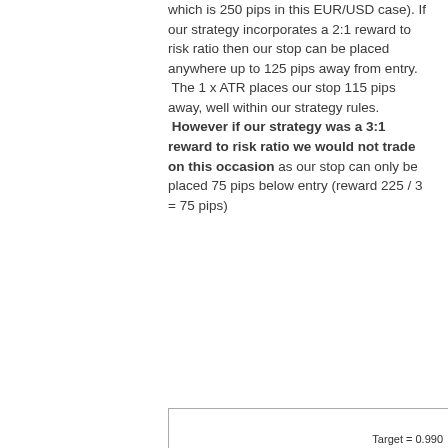which is 250 pips in this EUR/USD case). If our strategy incorporates a 2:1 reward to risk ratio then our stop can be placed anywhere up to 125 pips away from entry. The 1 x ATR places our stop 115 pips away, well within our strategy rules. However if our strategy was a 3:1 reward to risk ratio we would not trade on this occasion as our stop can only be placed 75 pips below entry (reward 225 / 3 = 75 pips)
[Figure (other): Bottom of a trading chart showing Target = 0.990 label, partially visible]